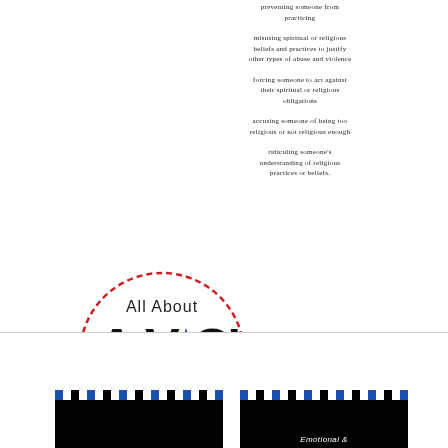preventing someone from practicing
misusing spiritual or religious beliefs and practices to justify other types of abuse and violence
forcing someone to act against their spiritual or religious obligations
accusing someone of being too religious or not religious enough
ridiculing someone's understanding of religious practices or beliefs.
[Figure (logo): All About AVO's Podcast logo — circular dashed red border with bold text and star motif]
TYPES OF ABUSE
[Figure (screenshot): Video thumbnail with blue and white checker bar at top, black background]
[Figure (screenshot): Video thumbnail with blue and white checker bar at top, black background, partial text 'Emotional &']